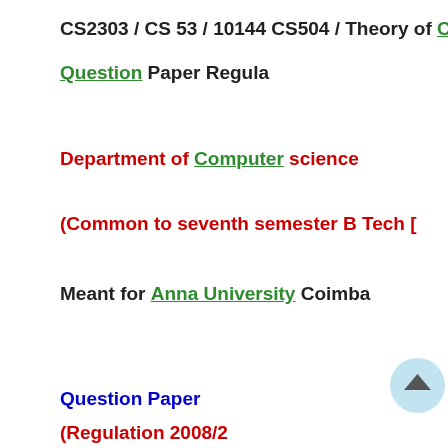CS2303 / CS 53 / 10144 CS504 / Theory of Computa... Question Paper Regula...
Department of Computer science...
(Common to seventh semester B Tech ...
Meant for Anna University Coimba...
Question Paper... (Regulation 2008/2...
Details: